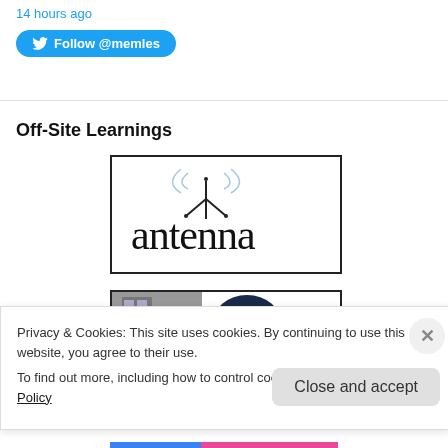14 hours ago
Follow @memles
Off-Site Learnings
[Figure (logo): Antenna logo — stylized antenna graphic with signal waves above, text 'antenna' in large serif-like font, inside a rectangular border]
[Figure (photo): Second logo block — building facade on left, dark navy circle logo on right, inside a rectangular border]
Privacy & Cookies: This site uses cookies. By continuing to use this website, you agree to their use.
To find out more, including how to control cookies, see here: Cookie Policy
Close and accept